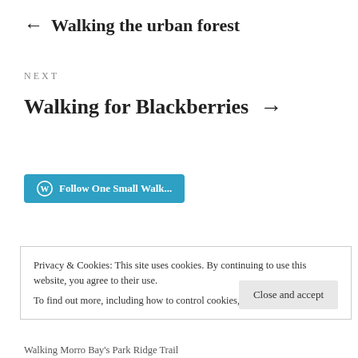← Walking the urban forest
NEXT
Walking for Blackberries →
[Figure (other): WordPress Follow button: 'Follow One Small Walk...' in blue with WordPress logo icon]
Privacy & Cookies: This site uses cookies. By continuing to use this website, you agree to their use.
To find out more, including how to control cookies, see here: Cookie Policy
Close and accept
Walking Morro Bay's Park Ridge Trail